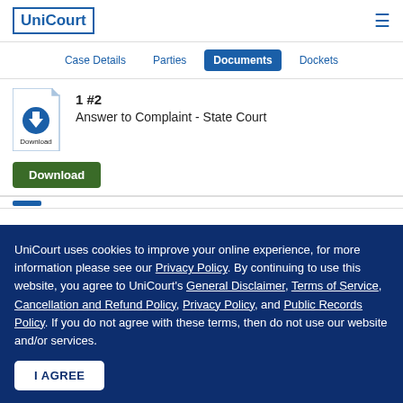UniCourt
Case Details  Parties  Documents  Dockets
1 #2
Answer to Complaint - State Court
Download
UniCourt uses cookies to improve your online experience, for more information please see our Privacy Policy. By continuing to use this website, you agree to UniCourt's General Disclaimer, Terms of Service, Cancellation and Refund Policy, Privacy Policy, and Public Records Policy. If you do not agree with these terms, then do not use our website and/or services.
I AGREE